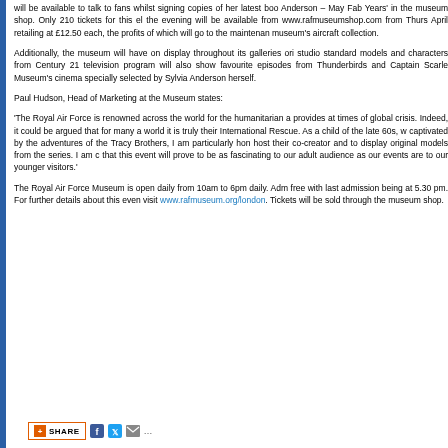will be available to talk to fans whilst signing copies of her latest book 'Sylvia Anderson – May Fab Years' in the museum shop. Only 210 tickets for this exclusive evening will be available from www.rafmuseumshop.com from Thursday 3 April retailing at £12.50 each, the profits of which will go to the maintenance of the museum's aircraft collection.
Additionally, the museum will have on display throughout its galleries original studio standard models and characters from Century 21 television programmes. It will also show favourite episodes from Thunderbirds and Captain Scarlet in the Museum's cinema specially selected by Sylvia Anderson herself.
Paul Hudson, Head of Marketing at the Museum states:
'The Royal Air Force is renowned across the world for the humanitarian aid it provides at times of global crisis. Indeed, it could be argued that for many around the world it is truly their International Rescue. As a child of the late 60s, who was captivated by the adventures of the Tracy Brothers, I am particularly honoured to host their co-creator and to display original models from the series. I am confident that this event will prove to be as fascinating to our adult audience as our regular events are to our younger visitors.'
The Royal Air Force Museum is open daily from 10am to 6pm daily. Admission is free with last admission being at 5.30 pm. For further details about this event please visit www.rafmuseum.org/london. Tickets will be sold through the museum shop.
[Figure (other): Social share bar with SHARE button, Facebook icon, Twitter icon, email icon, and more dots]